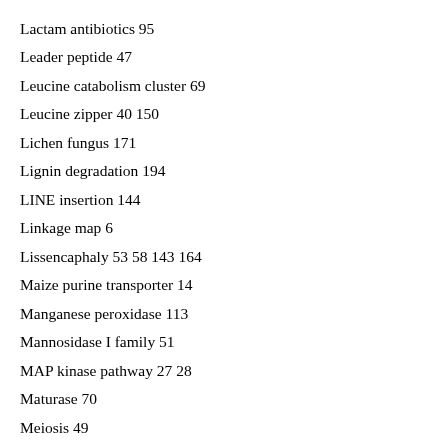Lactam antibiotics 95
Leader peptide 47
Leucine catabolism cluster 69
Leucine zipper 40 150
Lichen fungus 171
Lignin degradation 194
LINE insertion 144
Linkage map 6
Lissencaphaly 53 58 143 164
Maize purine transporter 14
Manganese peroxidase 113
Mannosidase I family 51
MAP kinase pathway 27 28
Maturase 70
Meiosis 49